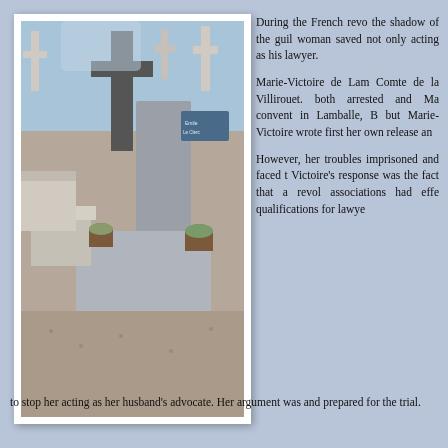[Figure (photo): A cemetery photograph showing stone graves and crosses, with flower arrangements and greenery between grave markers. Gray cross monument and granite slab visible.]
During the French revo the shadow of the guil woman saved not only acting as his lawyer.
Marie-Victoire de Lam Comte de la Villirouet. both arrested and Ma convent in Lamballe, B but Marie-Victoire wrote first her own release an
However, her troubles imprisoned and faced t Victoire's response was the fact that a revol associations had effe qualifications for lawye
to stop her acting as her husband's advocate. Her argument was and prepared for the trial.